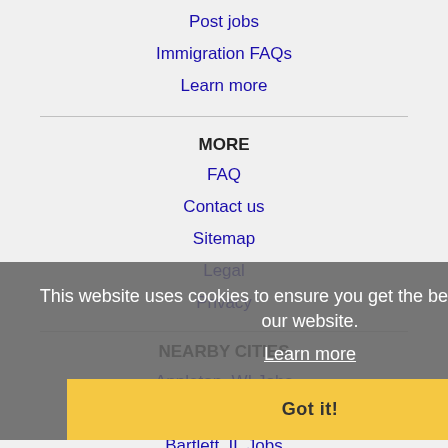Post jobs
Immigration FAQs
Learn more
MORE
FAQ
Contact us
Sitemap
Legal
Privacy
This website uses cookies to ensure you get the best experience on our website.
Learn more
Got it!
NEARBY CITIES
Appleton, WI Jobs
Arlington Heights, IL Jobs
Bartlett, IL Jobs
Buffalo Grove, IL Jobs